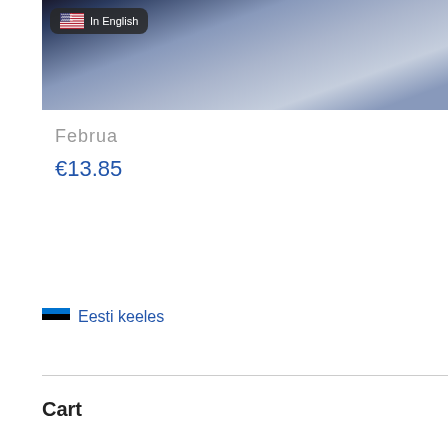[Figure (photo): Blue-grey abstract blurred image resembling flowing water or fabric, with a dark rounded rectangle badge in the top-left showing a US flag icon and the text 'In English']
Februa
€13.85
🇪🇪 Eesti keeles
Cart